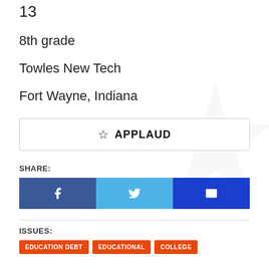13
8th grade
Towles New Tech
Fort Wayne, Indiana
APPLAUD
SHARE:
[Figure (infographic): Three social share buttons: Facebook (dark blue with f icon), Twitter (light blue with bird icon), Email (blue with envelope icon)]
ISSUES:
EDUCATION DEBT  EDUCATIONAL  COLLEGE